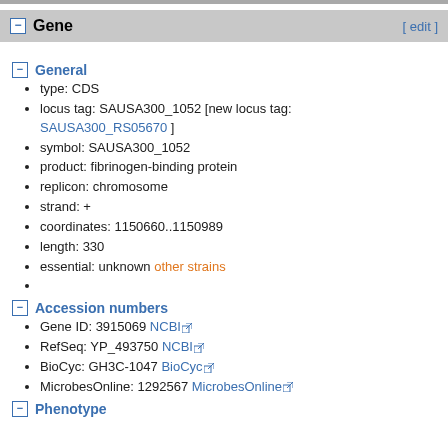Gene [ edit ]
General
type: CDS
locus tag: SAUSA300_1052 [new locus tag: SAUSA300_RS05670 ]
symbol: SAUSA300_1052
product: fibrinogen-binding protein
replicon: chromosome
strand: +
coordinates: 1150660..1150989
length: 330
essential: unknown other strains
Accession numbers
Gene ID: 3915069 NCBI
RefSeq: YP_493750 NCBI
BioCyc: GH3C-1047 BioCyc
MicrobesOnline: 1292567 MicrobesOnline
Phenotype